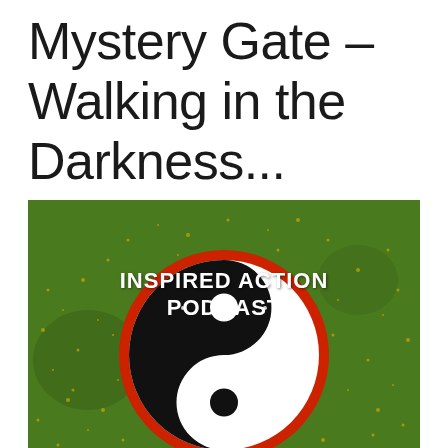Mystery Gate – Walking in the Darkness...
[Figure (illustration): Inspired Action Podcast logo featuring a yin-yang symbol on a green background with red ring and golden sparkle dots, with white text reading INSPIRED ACTION PODCAST above the symbol]